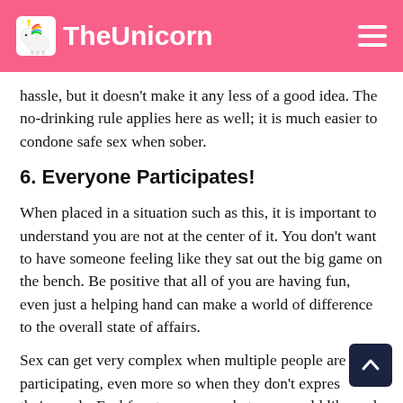TheUnicorn
hassle, but it doesn't make it any less of a good idea. The no-drinking rule applies here as well; it is much easier to condone safe sex when sober.
6. Everyone Participates!
When placed in a situation such as this, it is important to understand you are not at the center of it. You don't want to have someone feeling like they sat out the big game on the bench. Be positive that all of you are having fun, even just a helping hand can make a world of difference to the overall state of affairs.
Sex can get very complex when multiple people are participating, even more so when they don't express their needs. Feel free to convey what you would like and encourage the others to do so as well.